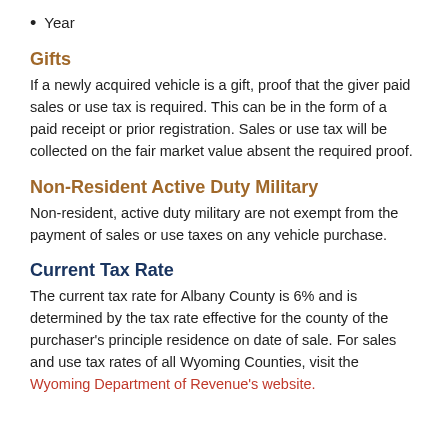Year
Gifts
If a newly acquired vehicle is a gift, proof that the giver paid sales or use tax is required. This can be in the form of a paid receipt or prior registration. Sales or use tax will be collected on the fair market value absent the required proof.
Non-Resident Active Duty Military
Non-resident, active duty military are not exempt from the payment of sales or use taxes on any vehicle purchase.
Current Tax Rate
The current tax rate for Albany County is 6% and is determined by the tax rate effective for the county of the purchaser's principle residence on date of sale. For sales and use tax rates of all Wyoming Counties, visit the Wyoming Department of Revenue's website.